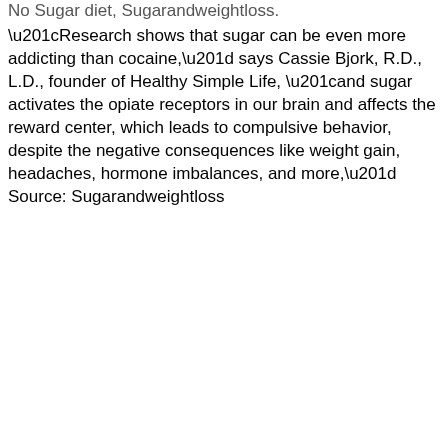“Research shows that sugar can be even more addicting than cocaine,” says Cassie Bjork, R.D., L.D., founder of Healthy Simple Life, “and sugar activates the opiate receptors in our brain and affects the reward center, which leads to compulsive behavior, despite the negative consequences like weight gain, headaches, hormone imbalances, and more,” Source: Sugarandweightloss